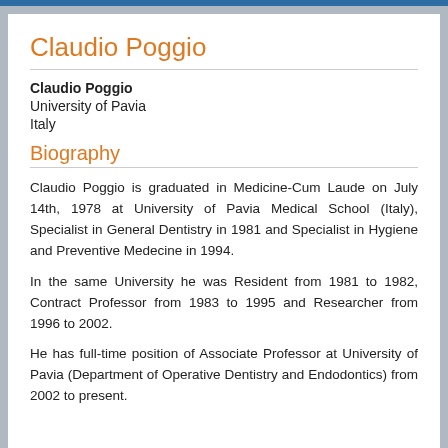Claudio Poggio
Claudio Poggio
University of Pavia
Italy
Biography
Claudio Poggio is graduated in Medicine-Cum Laude on July 14th, 1978 at University of Pavia Medical School (Italy), Specialist in General Dentistry in 1981 and Specialist in Hygiene and Preventive Medecine in 1994.
In the same University he was Resident from 1981 to 1982, Contract Professor from 1983 to 1995 and Researcher from 1996 to 2002.
He has full-time position of Associate Professor at University of Pavia (Department of Operative Dentistry and Endodontics) from 2002 to present.